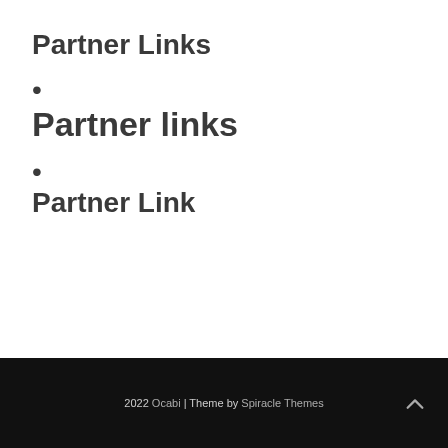Partner Links
•
Partner links
•
Partner Link
2022 Ocabi | Theme by Spiracle Themes